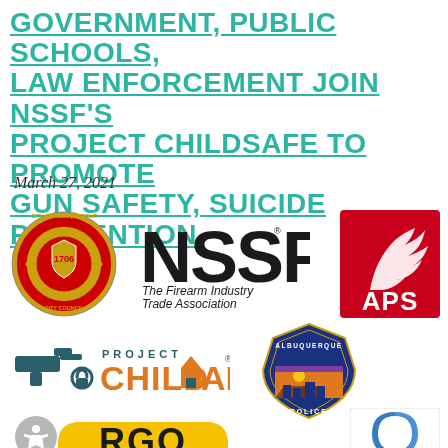GOVERNMENT, PUBLIC SCHOOLS, LAW ENFORCEMENT JOIN NSSF'S PROJECT CHILDSAFE TO PROMOTE GUN SAFETY, SUICIDE PREVENTION
March 27, 2021
[Figure (logo): City of Albuquerque City Council seal — circular badge with 1706 in center]
[Figure (logo): NSSF – The Firearm Industry Trade Association logo]
[Figure (logo): APS (Albuquerque Public Schools) red square logo with white hand/bird graphic]
[Figure (logo): Project ChildSafe logo with gun and lock icon and teal orange text]
[Figure (logo): Albuquerque Police Department badge logo]
[Figure (logo): ERGO black and yellow logo]
[Figure (logo): Google reCAPTCHA icon with Privacy – Terms text]